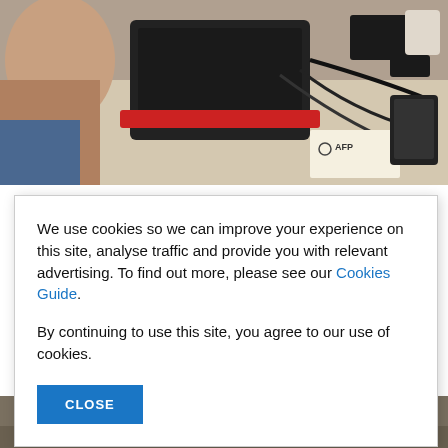[Figure (photo): Overhead view of a person working at a desk with a laptop, cables, and an AFP-branded document visible]
SECURITY
Spyware sales 'explosion' powers attacks
We use cookies so we can improve your experience on this site, analyse traffic and provide you with relevant advertising. To find out more, please see our Cookies Guide.
By continuing to use this site, you agree to our use of cookies.
[Figure (photo): Partial view of people at the bottom of the page]